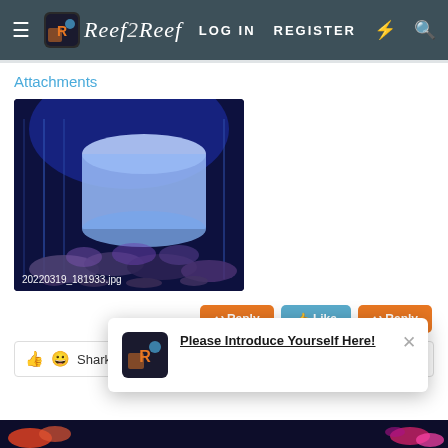Reef2Reef — LOG IN   REGISTER
Attachments
[Figure (photo): Aquarium photo under blue LED lighting showing a white/blue cylindrical object (possibly a reactor or canister) and coral rocks below. Blue-purple lighting dominates. Filename label: 20220319_181933.jpg]
20220319_181933.jpg
Reply   Like   Reply
Sharkbait
Please Introduce Yourself Here!